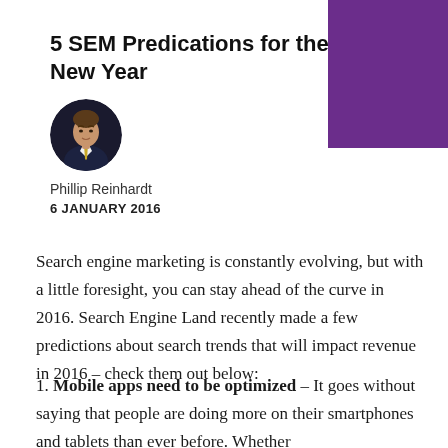[Figure (other): Purple decorative rectangle in top-right corner]
5 SEM Predications for the New Year
[Figure (photo): Circular headshot photo of Phillip Reinhardt, a man in a suit with a gold tie]
Phillip Reinhardt
6 JANUARY 2016
Search engine marketing is constantly evolving, but with a little foresight, you can stay ahead of the curve in 2016. Search Engine Land recently made a few predictions about search trends that will impact revenue in 2016 – check them out below:
1. Mobile apps need to be optimized – It goes without saying that people are doing more on their smartphones and tablets than ever before. Whether